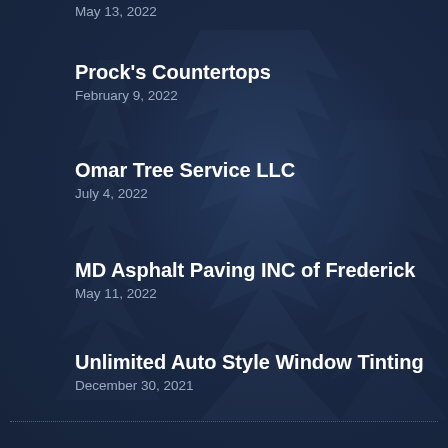May 13, 2022
Procks Countertops
February 9, 2022
Omar Tree Service LLC
July 4, 2022
MD Asphalt Paving INC of Frederick
May 11, 2022
Unlimited Auto Style Window Tinting
December 30, 2021